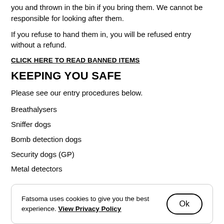you and thrown in the bin if you bring them. We cannot be responsible for looking after them.
If you refuse to hand them in, you will be refused entry without a refund.
CLICK HERE TO READ BANNED ITEMS
KEEPING YOU SAFE
Please see our entry procedures below.
Breathalysers
Sniffer dogs
Bomb detection dogs
Security dogs (GP)
Metal detectors
Fatsoma uses cookies to give you the best experience. View Privacy Policy  Ok